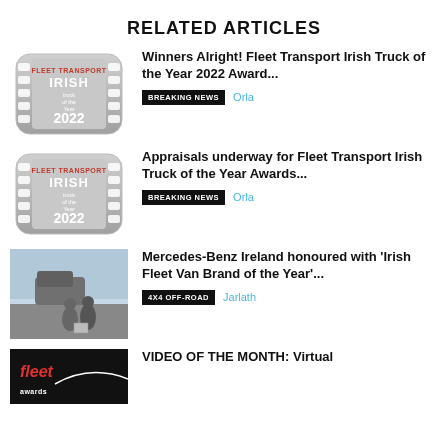RELATED ARTICLES
Winners Alright!  Fleet Transport Irish Truck of the Year 2022 Award...
BREAKING NEWS  Orla
Appraisals underway for Fleet Transport Irish Truck of the Year Awards...
BREAKING NEWS  Orla
Mercedes-Benz Ireland honoured with 'Irish Fleet Van Brand of the Year'...
4X4 OFF-ROAD  Jarlath
VIDEO OF THE MONTH: Virtual ...